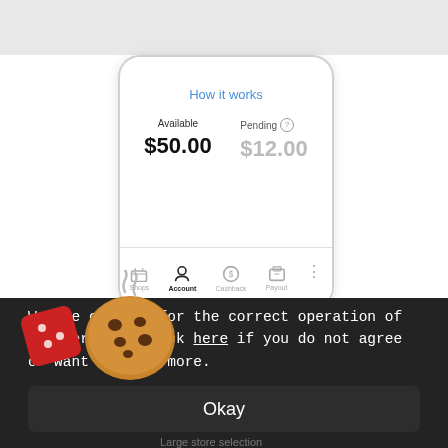[Figure (screenshot): Mobile app screenshot showing Available $50.00 and Pending $12.00 balance, with bottom navigation: Shops, Account (active), Cashback, Payout]
[Figure (illustration): Cookie and dice emoji illustration overlapping the cookie consent banner]
We use cookies for the correct operation of the service. Click here if you do not agree or want to know more.
Okay
Large store selection